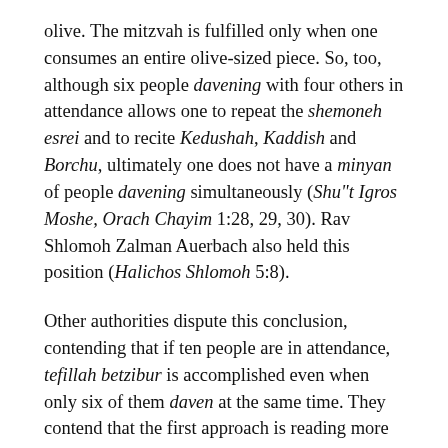olive. The mitzvah is fulfilled only when one consumes an entire olive-sized piece. So, too, although six people davening with four others in attendance allows one to repeat the shemoneh esrei and to recite Kedushah, Kaddish and Borchu, ultimately one does not have a minyan of people davening simultaneously (Shu"t Igros Moshe, Orach Chayim 1:28, 29, 30). Rav Shlomoh Zalman Auerbach also held this position (Halichos Shlomoh 5:8).
Other authorities dispute this conclusion, contending that if ten people are in attendance, tefillah betzibur is accomplished even when only six of them daven at the same time. They contend that the first approach is reading more into the Chayei Adam's comments than the author intended. The purpose of the Chayei Adam's comments is only to show that reciting the shemoneh esrei with the tzibur is the primary focus of attending public prayer and